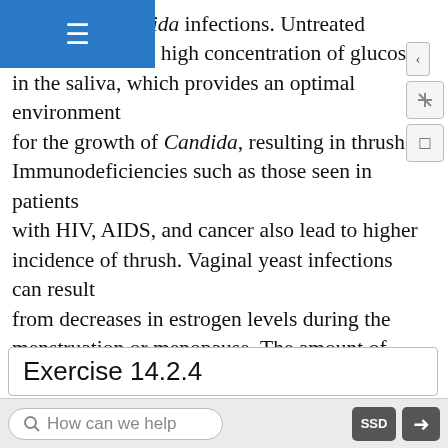unities for Candida infections. Untreated cases can result in a high concentration of glucose in the saliva, which provides an optimal environment for the growth of Candida, resulting in thrush. Immunodeficiencies such as those seen in patients with HIV, AIDS, and cancer also lead to higher incidence of thrush. Vaginal yeast infections can result from decreases in estrogen levels during the menstruation or menopause. The amount of glycogen available to lactobacilli in the vagina is controlled by levels of estrogen; when estrogen levels are low, lactobacilli produce less lactic acid. The resultant increase in vaginal pH allows overgrowth of Candida in the vagina.
Exercise 14.2.4